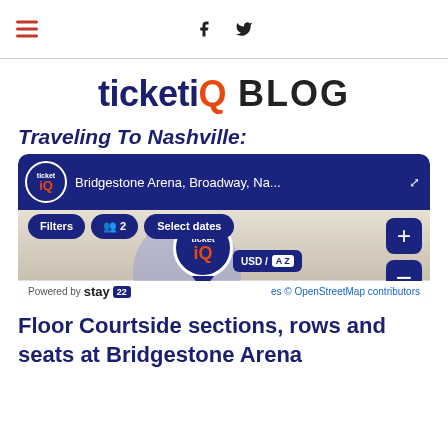TicketIQ BLOG — navigation header with hamburger menu and social icons (Facebook, Twitter)
ticketiQ BLOG
Traveling To Nashville:
[Figure (screenshot): TicketIQ hotel search widget screenshot showing Bridgestone Arena, Broadway, Na... address bar, Filters, 2 guests, Select dates buttons, map view with TicketIQ logo pin, USD/AZ currency selector, zoom +/- buttons, Powered by stay22 and OpenStreetMap contributors credit]
Floor Courtside sections, rows and seats at Bridgestone Arena